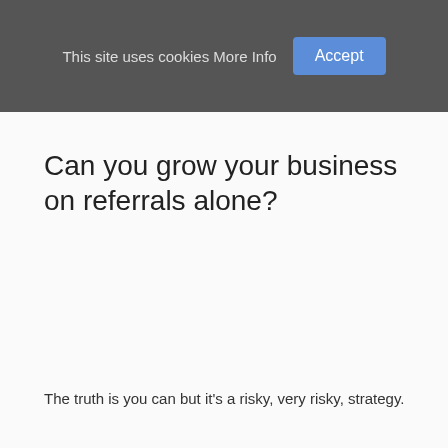This site uses cookies More Info  Accept
Can you grow your business on referrals alone?
The truth is you can but it's a risky, very risky, strategy.